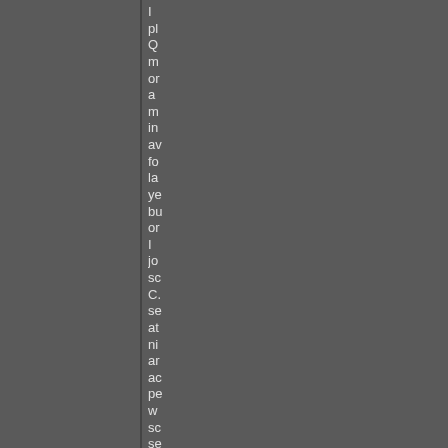I pl Q m or a m in av fo la ye bu or I jo sc C. se at ni ar ac pe w sc se ab th m